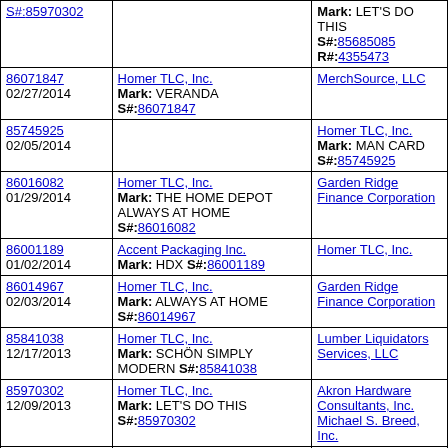| Filing/Date | Plaintiff | Defendant |
| --- | --- | --- |
| 86071847
02/27/2014 | Homer TLC, Inc.
Mark: VERANDA
S#:86071847 | MerchSource, LLC |
| 85745925
02/05/2014 |  | Homer TLC, Inc.
Mark: MAN CARD
S#:85745925 |
| 86016082
01/29/2014 | Homer TLC, Inc.
Mark: THE HOME DEPOT ALWAYS AT HOME
S#:86016082 | Garden Ridge Finance Corporation |
| 86001189
01/02/2014 | Accent Packaging Inc.
Mark: HDX S#:86001189 | Homer TLC, Inc. |
| 86014967
02/03/2014 | Homer TLC, Inc.
Mark: ALWAYS AT HOME
S#:86014967 | Garden Ridge Finance Corporation |
| 85841038
12/17/2013 | Homer TLC, Inc.
Mark: SCHÖN SIMPLY MODERN S#:85841038 | Lumber Liquidators Services, LLC |
| 85970302
12/09/2013 | Homer TLC, Inc.
Mark: LET'S DO THIS
S#:85970302 | Akron Hardware Consultants, Inc.
Michael S. Breed, Inc. |
| 85841022
12/04/2013 | Homer TLC, Inc.
Mark: SCHÖN S#:85841022 | Lumber Liquidators Services, LLC |
| 85618610
11/08/2012 | Homer TLC, Inc.
Mark: PRO XTRA
S#:85618610 | Ferguson Enterprises, Inc. |